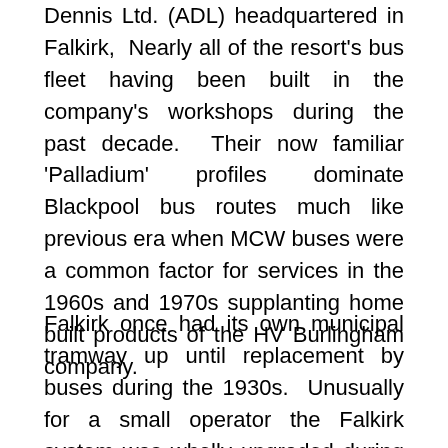Dennis Ltd. (ADL) headquartered in Falkirk,  Nearly all of the resort's bus fleet having been built in the company's workshops during the past decade.  Their now familiar 'Palladium' profiles dominate Blackpool bus routes much like previous era when MCW buses were a common factor for services in the 1960s and 1970s supplanting home built products of the HV Burlingham company.
Falkirk once had its own municipal tramway up until replacement by buses during the 1930s.  Unusually for a small operator the Falkirk system was wholly upgraded during the 1920s with the early fleet of